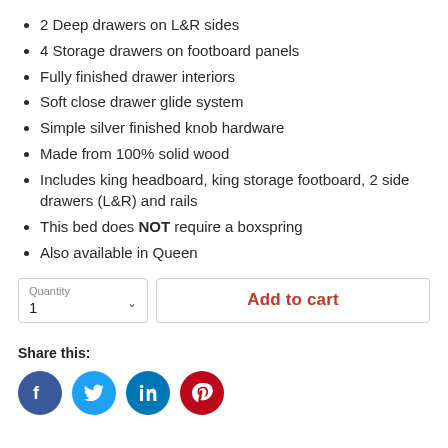2 Deep drawers on L&R sides
4 Storage drawers on footboard panels
Fully finished drawer interiors
Soft close drawer glide system
Simple silver finished knob hardware
Made from 100% solid wood
Includes king headboard, king storage footboard, 2 side drawers (L&R) and rails
This bed does NOT require a boxspring
Also available in Queen
Quantity 1 | Add to cart
Share this: